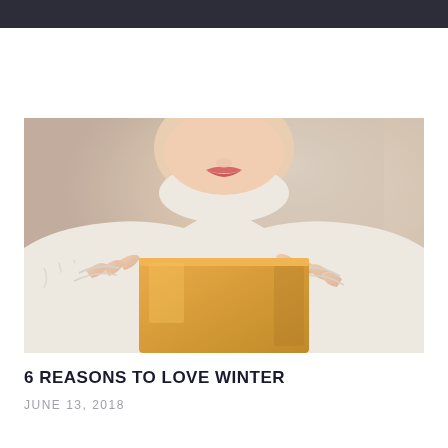[Figure (photo): A person in a white knit turtleneck sweater holding an orange/yellow mug with both hands, face partially visible from nose down showing red lips, background is softly blurred warm tones.]
6 REASONS TO LOVE WINTER
JUNE 13, 2018